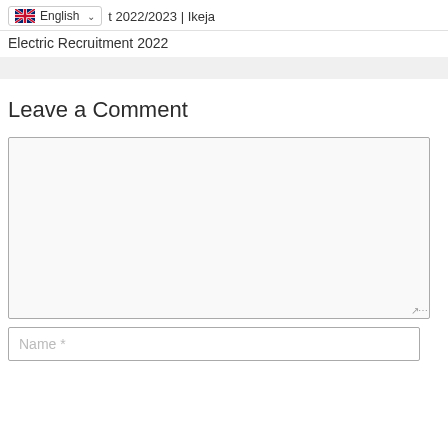English  t 2022/2023 | Ikeja Electric Recruitment 2022
Leave a Comment
Name *